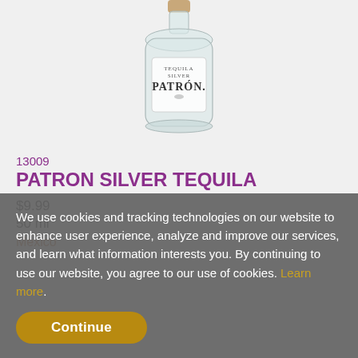[Figure (photo): Patron Silver Tequila mini bottle (50ml) with cork stopper and branded label, on light gray background]
13009
PATRON SILVER TEQUILA
$9.99
50 ml
Mexico
We use cookies and tracking technologies on our website to enhance user experience, analyze and improve our services, and learn what information interests you. By continuing to use our website, you agree to our use of cookies. Learn more.
Continue